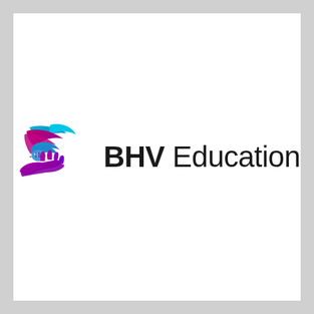[Figure (logo): BHV Education logo: a colorful icon showing a dove/bird above a cupped hand with wings, rendered in cyan/blue and magenta/purple gradient, alongside the text 'BHV' in bold black and 'Education' in light black sans-serif font.]